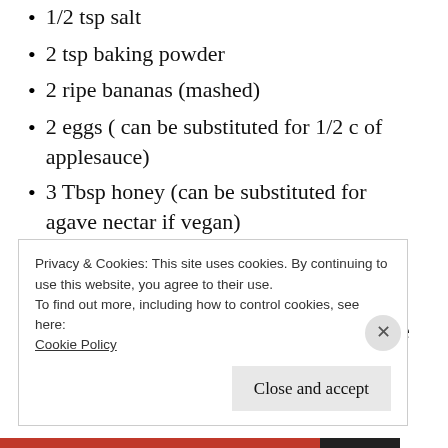1/2 tsp salt
2 tsp baking powder
2 ripe bananas (mashed)
2 eggs ( can be substituted for 1/2 c of applesauce)
3 Tbsp honey (can be substituted for agave nectar if vegan)
1 tsp vanilla
3/4 c almond milk
1/2- 3/4 c add in of your choice ( we love raisins, blueberries or chocolate chips)
Privacy & Cookies: This site uses cookies. By continuing to use this website, you agree to their use.
To find out more, including how to control cookies, see here: Cookie Policy